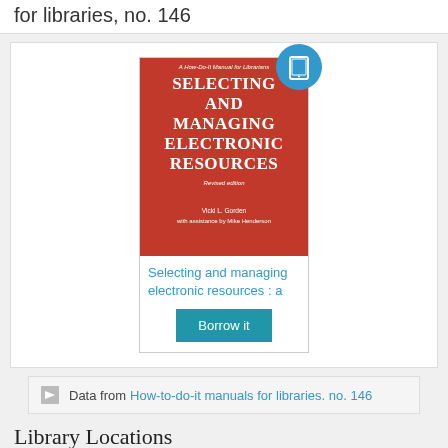for libraries, no. 146
[Figure (illustration): Book cover for 'Selecting and Managing Electronic Resources, revised edition' by Vicki L. Gorden with assistance by Mike Henderson. Red cover with white title text in serif font. An e-reader badge (blue circle with tablet icon) overlaps the top-right corner of the cover.]
Selecting and managing electronic resources : a
Borrow it
Data from How-to-do-it manuals for libraries. no. 146
Library Locations